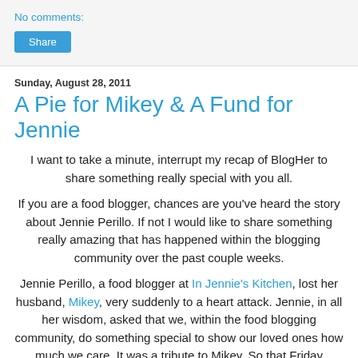No comments:
Share
Sunday, August 28, 2011
A Pie for Mikey & A Fund for Jennie
I want to take a minute, interrupt my recap of BlogHer to share something really special with you all.
If you are a food blogger, chances are you've heard the story about Jennie Perillo. If not I would like to share something really amazing that has happened within the blogging community over the past couple weeks.
Jennie Perillo, a food blogger at In Jennie's Kitchen, lost her husband, Mikey, very suddenly to a heart attack. Jennie, in all her wisdom, asked that we, within the food blogging community, do something special to show our loved ones how much we care. It was a tribute to Mikey. So that Friday